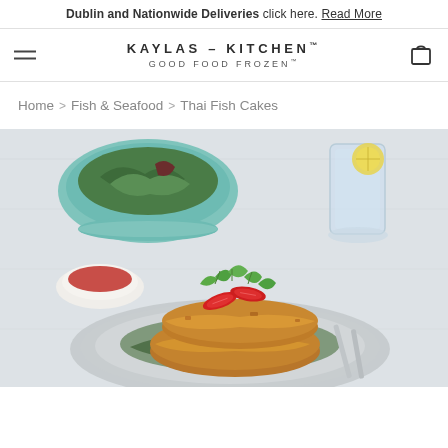Dublin and Nationwide Deliveries click here. Read More
KAYLAS – KITCHEN™ GOOD FOOD FROZEN™
Home > Fish & Seafood > Thai Fish Cakes
[Figure (photo): Plated Thai fish cakes topped with sliced red chillies and fresh coriander, served on a grey plate with leafy greens, a small bowl of sweet chilli dipping sauce, a teal bowl of mixed salad, and a glass of water with lemon in the background, on a white wooden surface.]